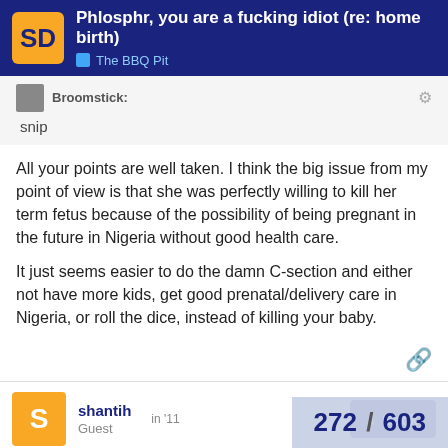Phlosphr, you are a fucking idiot (re: home birth) — The BBQ Pit
Broomstick:
snip
All your points are well taken. I think the big issue from my point of view is that she was perfectly willing to kill her term fetus because of the possibility of being pregnant in the future in Nigeria without good health care.
It just seems easier to do the damn C-section and either not have more kids, get good prenatal/delivery care in Nigeria, or roll the dice, instead of killing your baby.
shantih
Guest
markdash:
272 / 603